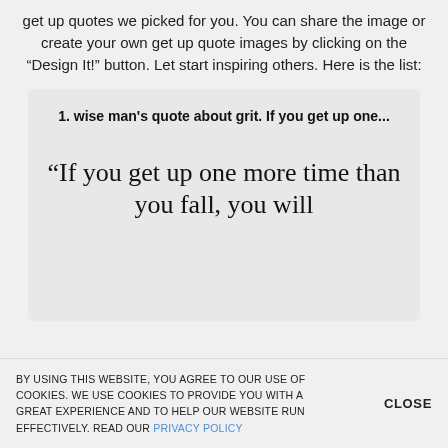get up quotes we picked for you. You can share the image or create your own get up quote images by clicking on the "Design It!" button. Let start inspiring others. Here is the list:
1. wise man's quote about grit. If you get up one...
“If you get up one more time than you fall, you will
BY USING THIS WEBSITE, YOU AGREE TO OUR USE OF COOKIES. WE USE COOKIES TO PROVIDE YOU WITH A GREAT EXPERIENCE AND TO HELP OUR WEBSITE RUN EFFECTIVELY. READ OUR PRIVACY POLICY